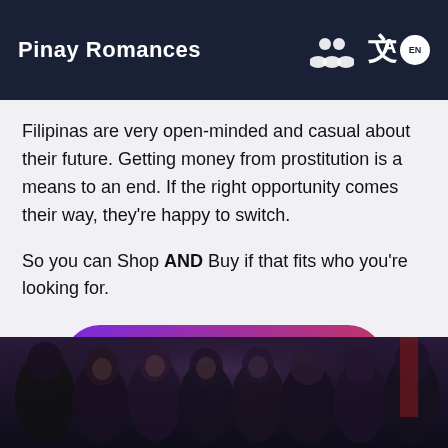Pinay Romances
Filipinas are very open-minded and casual about their future. Getting money from prostitution is a means to an end. If the right opportunity comes their way, they're happy to switch.
So you can Shop AND Buy if that fits who you're looking for.
Start Free Now! →
[Figure (photo): Group photo of several women in a dark nightclub setting, smiling at the camera]